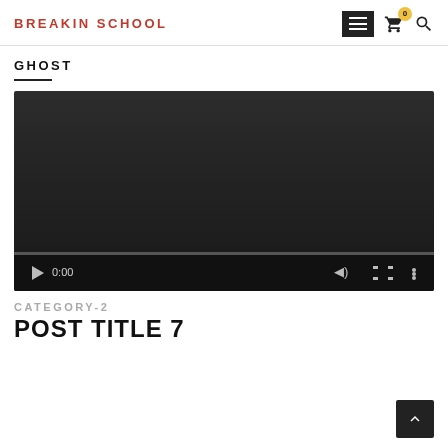BREAKIN SCHOOL
GHOST
[Figure (screenshot): Embedded video player with dark background, showing 0:00 timestamp, play button, mute, fullscreen, and more options controls. Progress bar at bottom.]
CATEGORY-2
POST TITLE 7